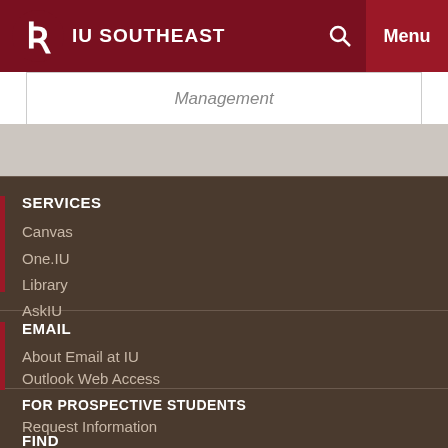IU SOUTHEAST
Management
SERVICES
Canvas
One.IU
Library
AskIU
EMAIL
About Email at IU
Outlook Web Access
FOR PROSPECTIVE STUDENTS
Request Information
FIND